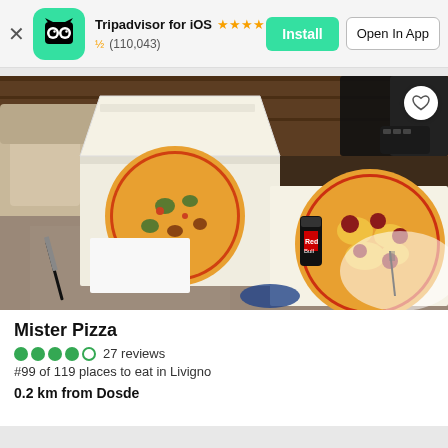Tripadvisor for iOS ★★★★½ (110,043) Install | Open In App
[Figure (photo): Two pizzas in open boxes on a table with a knife, paper, energy drink can, and plastic bag. Cushioned seating in background.]
Mister Pizza
27 reviews
#99 of 119 places to eat in Livigno
0.2 km from Dosde